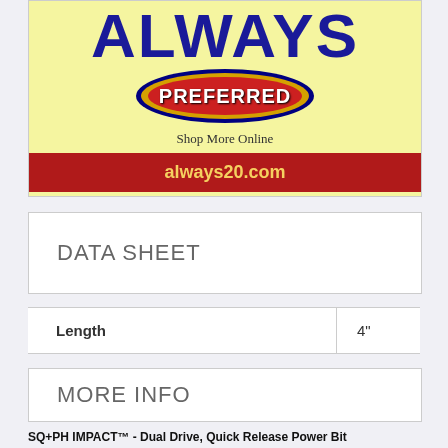[Figure (logo): Always Preferred advertisement banner with yellow background, blue 'ALWAYS' text, red oval with 'PREFERRED' logo, 'Shop More Online' text and red bar with 'always20.com']
DATA SHEET
| Length | 4" |
| --- | --- |
| Length | 4" |
MORE INFO
SQ+PH IMPACT™ - Dual Drive, Quick Release Power Bit